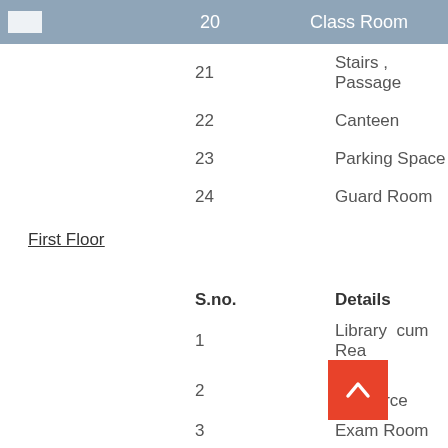| S.no. | Details |
| --- | --- |
| 20 | Class Room |
| 21 | Stairs , Passage |
| 22 | Canteen |
| 23 | Parking Space |
| 24 | Guard Room |
First Floor
| S.no. | Details |
| --- | --- |
| 1 | Library cum Rea... |
| 2 | ICT & Resource... |
| 3 | Exam Room |
| 4 | Health & Physic... |
| 5 | Psychology Lab... |
| 6 | Art & Craft Room... |
| 7 | Toilet & Gallery... |